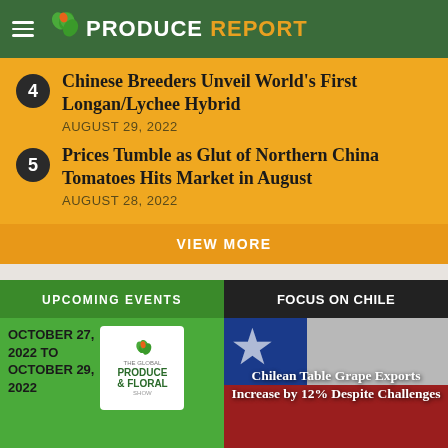PRODUCE REPORT
4 Chinese Breeders Unveil World's First Longan/Lychee Hybrid
AUGUST 29, 2022
5 Prices Tumble as Glut of Northern China Tomatoes Hits Market in August
AUGUST 28, 2022
VIEW MORE
UPCOMING EVENTS
FOCUS ON CHILE
OCTOBER 27, 2022 TO OCTOBER 29,
[Figure (logo): The Global Produce & Floral Show logo]
[Figure (illustration): Chilean flag with star, backdrop for Focus on Chile section]
Chilean Table Grape Exports Increase by 12% Despite Challenges